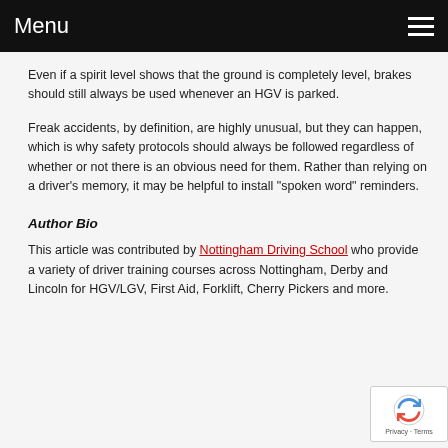Menu
Even if a spirit level shows that the ground is completely level, brakes should still always be used whenever an HGV is parked.
Freak accidents, by definition, are highly unusual, but they can happen, which is why safety protocols should always be followed regardless of whether or not there is an obvious need for them. Rather than relying on a driver’s memory, it may be helpful to install “spoken word” reminders.
Author Bio
This article was contributed by Nottingham Driving School who provide a variety of driver training courses across Nottingham, Derby and Lincoln for HGV/LGV, First Aid, Forklift, Cherry Pickers and more.